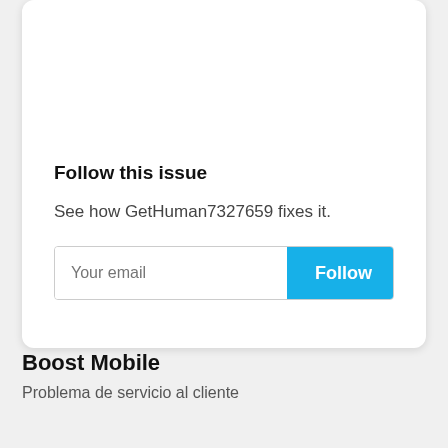Follow this issue
See how GetHuman7327659 fixes it.
Your email | Follow
Boost Mobile
Problema de servicio al cliente